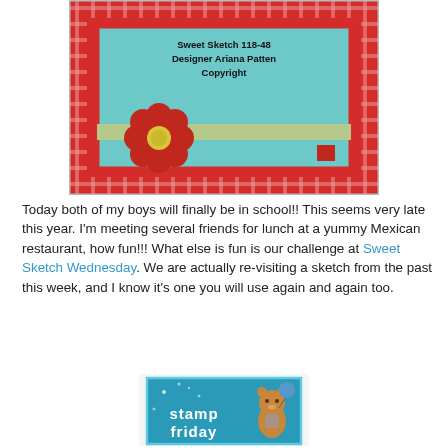[Figure (illustration): A decorative card sketch showing a teal/aqua inner panel with red border, red and white patterned outer border, a red daisy flower with yellow center on a green ribbon/band across the middle. Text at top reads 'Sweet Sketch 118-48 Designer Ariana Patten Copyright'.]
Today both of my boys will finally be in school!! This seems very late this year. I'm meeting several friends for lunch at a yummy Mexican restaurant, how fun!!! What else is fun is our challenge at Sweet Sketch Wednesday. We are actually re-visiting a sketch from the past this week, and I know it's one you will use again and again too.
[Figure (illustration): A stamp Friday badge showing a teal/blue background with a cartoon teddy bear holding a blue balloon and text 'stamp friday' in white chunky letters.]